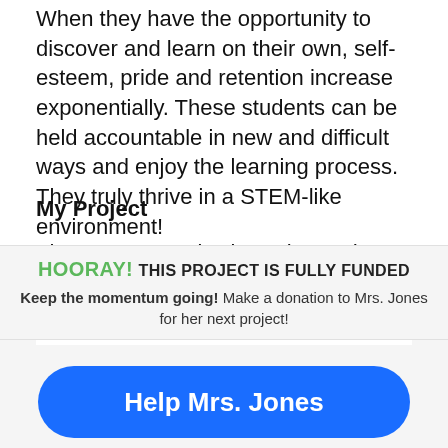When they have the opportunity to discover and learn on their own, self-esteem, pride and retention increase exponentially. These students can be held accountable in new and difficult ways and enjoy the learning process. They truly thrive in a STEM-like environment!
My Project
The AmazonBasics batteries and recharger will keep us up and running much longer; we
HOORAY! THIS PROJECT IS FULLY FUNDED
Keep the momentum going! Make a donation to Mrs. Jones for her next project!
Help Mrs. Jones